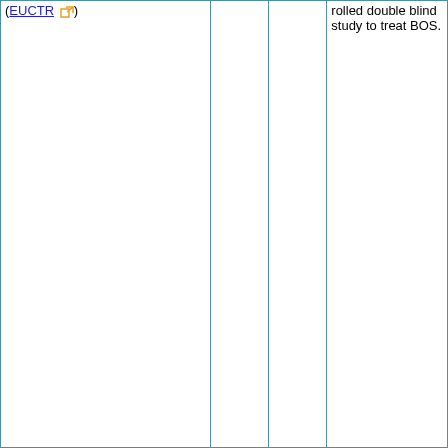| (EUCTR [ext-link]) |  |  | rolled double blind study to treat BOS. |